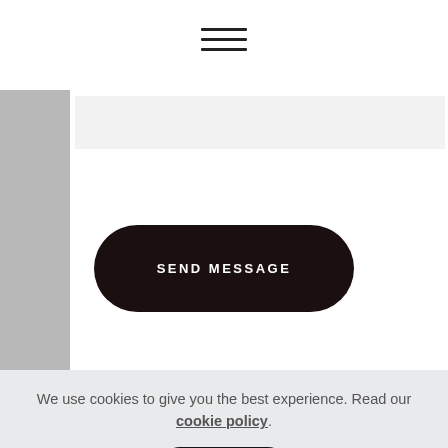[Figure (screenshot): Hamburger menu icon (three horizontal lines) centered at top of page]
[Figure (screenshot): Light gray input field (text area) within a white form card]
SEND MESSAGE
We use cookies to give you the best experience. Read our cookie policy.
Agree